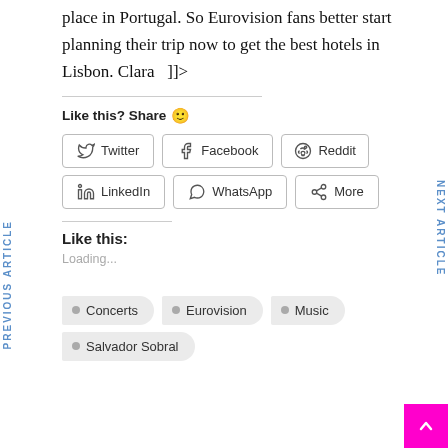place in Portugal. So Eurovision fans better start planning their trip now to get the best hotels in Lisbon. Clara  ]]>
Like this? Share 😊
Twitter
Facebook
Reddit
LinkedIn
WhatsApp
More
Like this:
Loading...
Concerts
Eurovision
Music
Salvador Sobral